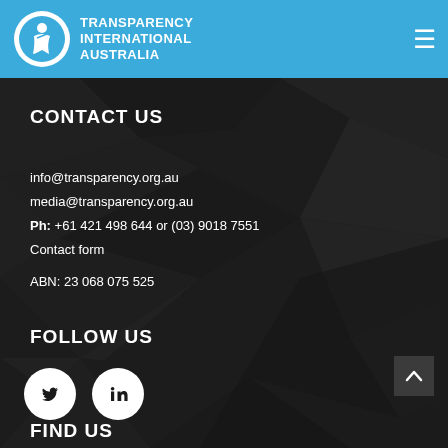Transparency International Australia
CONTACT US
info@transparency.org.au
media@transparency.org.au
Ph: +61 421 498 644 or (03) 9018 7551
Contact form
ABN: 23 068 075 525
FOLLOW US
[Figure (logo): Twitter and LinkedIn social media icon circles]
FIND US